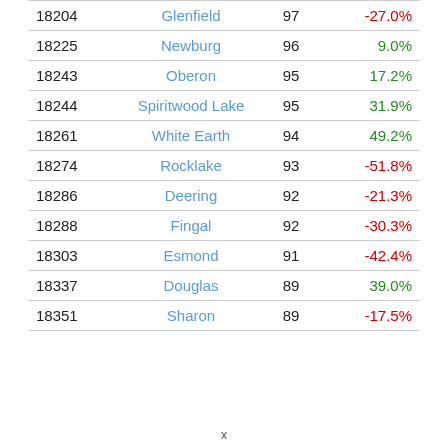| ID | Name | Score | Change |
| --- | --- | --- | --- |
| 18204 | Glenfield | 97 | -27.0% |
| 18225 | Newburg | 96 | 9.0% |
| 18243 | Oberon | 95 | 17.2% |
| 18244 | Spiritwood Lake | 95 | 31.9% |
| 18261 | White Earth | 94 | 49.2% |
| 18274 | Rocklake | 93 | -51.8% |
| 18286 | Deering | 92 | -21.3% |
| 18288 | Fingal | 92 | -30.3% |
| 18303 | Esmond | 91 | -42.4% |
| 18337 | Douglas | 89 | 39.0% |
| 18351 | Sharon | 89 | -17.5% |
x